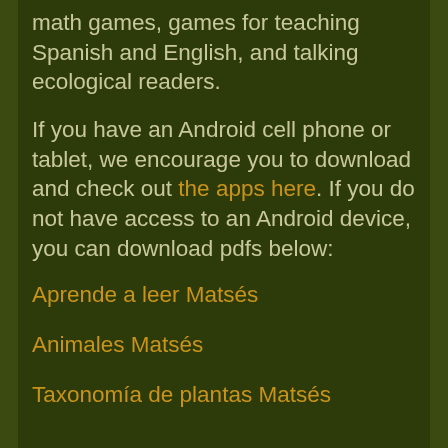math games, games for teaching Spanish and English, and talking ecological readers.
If you have an Android cell phone or tablet, we encourage you to download and check out the apps here. If you do not have access to an Android device, you can download pdfs below:
Aprende a leer Matsés
Animales Matsés
Taxonomía de plantas Matsés